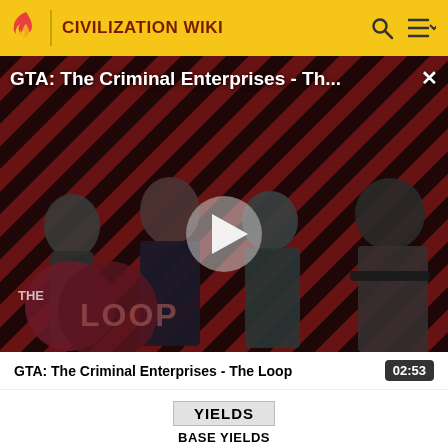CIVILIZATION WIKI
[Figure (screenshot): Video thumbnail for GTA: The Criminal Enterprises - The Loop, showing four game characters on a red and black diagonal stripe background, with a play button in the center and 'THE LOOP' logo in the lower left. A close button (X) is in the upper right.]
GTA: The Criminal Enterprises - The Loop
02:53
YIELDS
BASE YIELDS